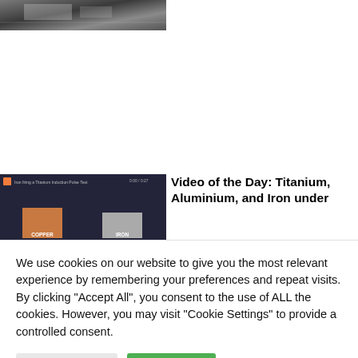[Figure (photo): Partial view of a laboratory or industrial machine setup, dark toned image cropped at top]
[Figure (screenshot): Video thumbnail showing blocks labeled COPPER and IRON on a dark background with text overlay about Titanium, Aluminium, and Iron]
Video of the Day: Titanium, Aluminium, and Iron under
We use cookies on our website to give you the most relevant experience by remembering your preferences and repeat visits. By clicking "Accept All", you consent to the use of ALL the cookies. However, you may visit "Cookie Settings" to provide a controlled consent.
Cookie Settings
Accept All